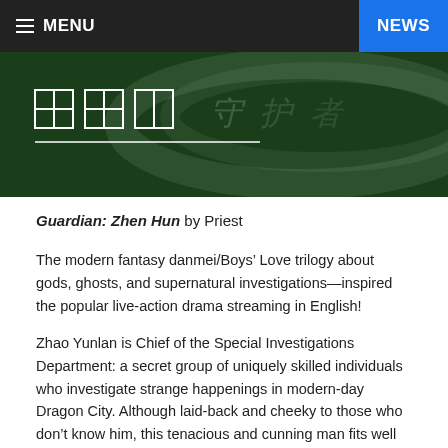MENU  NEWS
[Figure (illustration): Dark green banner with Chinese characters and decorative white line design on dark green background]
Guardian: Zhen Hun by Priest
The modern fantasy danmei/Boys’ Love trilogy about gods, ghosts, and supernatural investigations—inspired the popular live-action drama streaming in English!
Zhao Yunlan is Chief of the Special Investigations Department: a secret group of uniquely skilled individuals who investigate strange happenings in modern-day Dragon City. Although laid-back and cheeky to those who don’t know him, this tenacious and cunning man fits well into his role of the Guardian.
While investigating a mysterious death at a local university, Zhao Yunlan meets Shen Wei, a calm and cold professor who proves as intriguing as